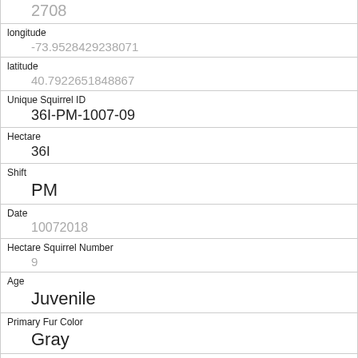2708
longitude
-73.9528429238071
latitude
40.7922651848867
Unique Squirrel ID
36I-PM-1007-09
Hectare
36I
Shift
PM
Date
10072018
Hectare Squirrel Number
9
Age
Juvenile
Primary Fur Color
Gray
Highlight Fur Color